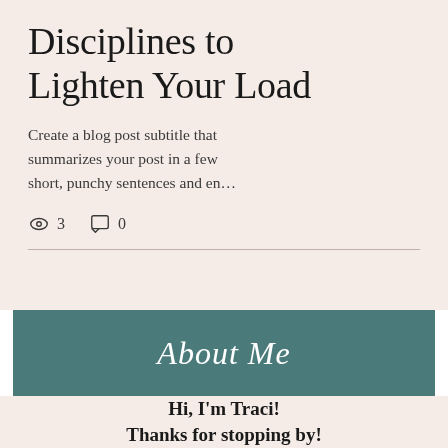Disciplines to Lighten Your Load
Create a blog post subtitle that summarizes your post in a few short, punchy sentences and en...
👁 3   💬 0
About Me
Hi, I'm Traci! Thanks for stopping by!